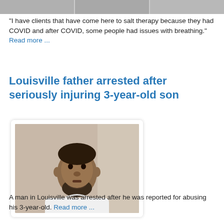[Figure (photo): Top portion of a news article showing partial photos (cropped mugshots or article images) at the top of the page]
"I have clients that have come here to salt therapy because they had COVID and after COVID, some people had issues with breathing." Read more ...
Louisville father arrested after seriously injuring 3-year-old son
[Figure (photo): Mugshot of a man with a beard wearing a white t-shirt, standing against a light-colored wall]
A man in Louisville was arrested after he was reported for abusing his 3-year-old. Read more ...